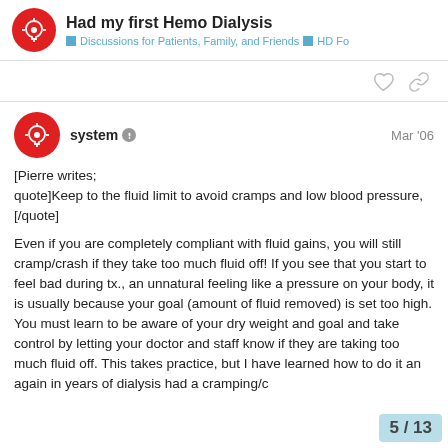Had my first Hemo Dialysis | Discussions for Patients, Family, and Friends | HD Fo
system | Mar '06
[Pierre writes;
quote]Keep to the fluid limit to avoid cramps and low blood pressure,[/quote]

Even if you are completely compliant with fluid gains, you will still cramp/crash if they take too much fluid off! If you see that you start to feel bad during tx., an unnatural feeling like a pressure on your body, it is usually because your goal (amount of fluid removed) is set too high. You must learn to be aware of your dry weight and goal and take control by letting your doctor and staff know if they are taking too much fluid off. This takes practice, but I have learned how to do it and again in years of dialysis had a cramping/c
5 / 13